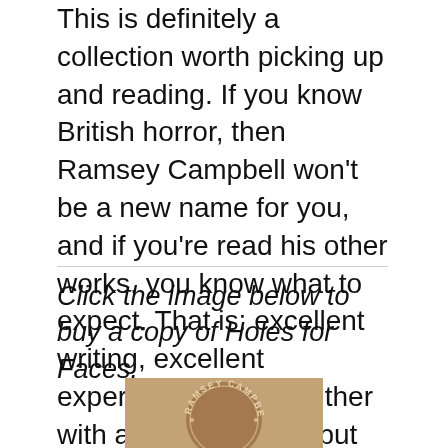This is definitely a collection worth picking up and reading. If you know British horror, then Ramsey Campbell won't be a new name for you, and if you're read his other works, you know what to expect. That is: excellent writing, excellent experimentation – neither with a 100% hit rate, but high enough to keep you coming back for more.
Click the image below to buy a copy of Holes for Faces.
[Figure (photo): Partial view of the book cover for Holes for Faces by Ramsey Campbell, showing a circular embossed text reading RAMSEY CAMPBE... on a textured background.]